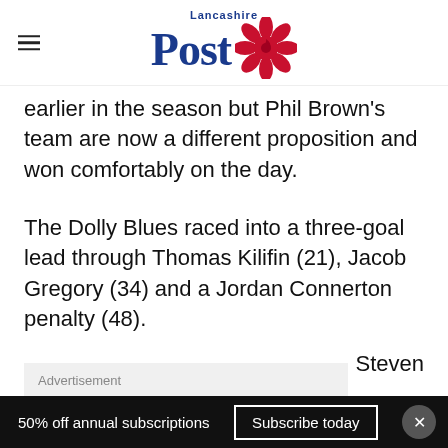Lancashire Post
earlier in the season but Phil Brown's team are now a different proposition and won comfortably on the day.
The Dolly Blues raced into a three-goal lead through Thomas Kilifin (21), Jacob Gregory (34) and a Jordan Connerton penalty (48).
Steven Ridley scored a last-gasp consolation goal for
50% off annual subscriptions   Subscribe today